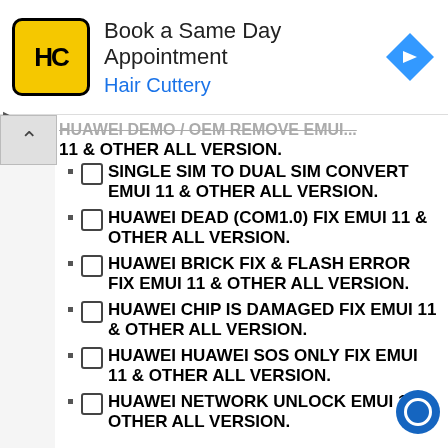[Figure (screenshot): Hair Cuttery advertisement banner with logo, 'Book a Same Day Appointment' text, and navigation arrow icon]
11 & OTHER ALL VERSION.
SINGLE SIM TO DUAL SIM CONVERT EMUI 11 & OTHER ALL VERSION.
HUAWEI DEAD (COM1.0) FIX EMUI 11 & OTHER ALL VERSION.
HUAWEI BRICK FIX & FLASH ERROR FIX EMUI 11 & OTHER ALL VERSION.
HUAWEI CHIP IS DAMAGED FIX EMUI 11 & OTHER ALL VERSION.
HUAWEI HUAWEI SOS ONLY FIX EMUI 11 & OTHER ALL VERSION.
HUAWEI NETWORK UNLOCK EMUI 11 & OTHER ALL VERSION.